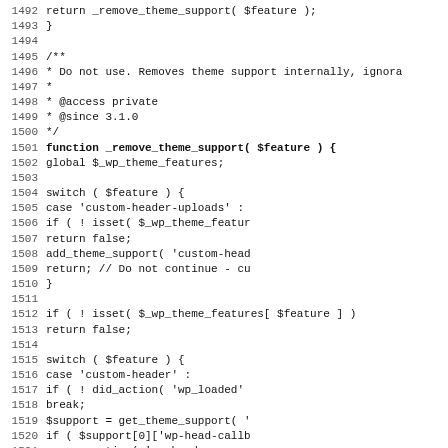[Figure (screenshot): Source code screenshot showing PHP code for _remove_theme_support function, lines 1492-1523]